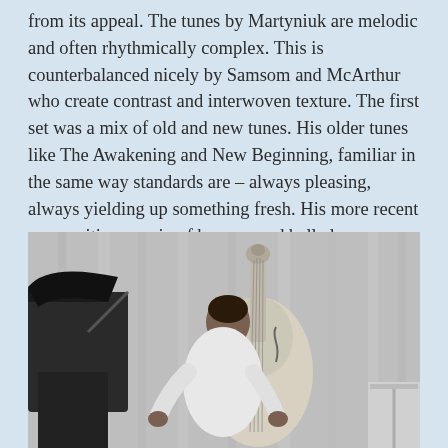from its appeal. The tunes by Martyniuk are melodic and often rhythmically complex. This is counterbalanced nicely by Samsom and McArthur who create contrast and interwoven texture. The first set was a mix of old and new tunes. His older tunes like The Awakening and New Beginning, familiar in the same way standards are – always pleasing, always yielding up something fresh. His more recent compositions a mix of burners and ballads.
[Figure (photo): Black and white photograph of a musician playing a double bass at a concert, leaning over the instrument. A grand piano is visible on the left side. The background shows draped curtains.]